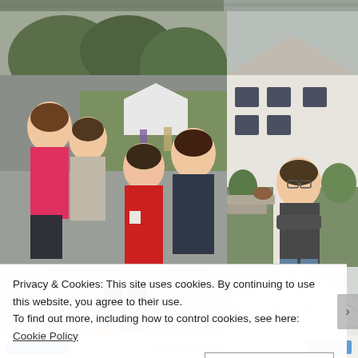[Figure (photo): Top partial strip of two photos cut off at top of page]
[Figure (photo): Large photo on left: group of people outdoors including two women in foreground (pink hoodie, grey top), a woman in red dress holding a mug, and a man in dark sweater, garden/driveway setting with trees and white marquee in background]
[Figure (photo): Right photo: Young man with glasses standing outdoors in front of white cottage building with garden, arms folded, wearing dark grey sweater]
[Figure (photo): Bottom left photo: partially visible, shows a person and a cottage building with thatched/stone roof, garden setting, smoky or hazy atmosphere]
[Figure (photo): Bottom right photo: white marquee/tent structure seen from below, showing geometric panels and guy ropes, pale grey sky]
Privacy & Cookies: This site uses cookies. By continuing to use this website, you agree to their use.
To find out more, including how to control cookies, see here: Cookie Policy
Close and accept